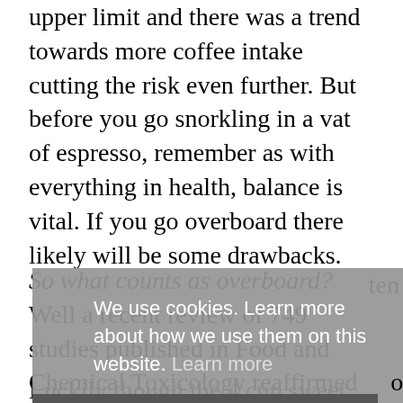upper limit and there was a trend towards more coffee intake cutting the risk even further. But before you go snorkling in a vat of espresso, remember as with everything in health, balance is vital. If you go overboard there likely will be some drawbacks.
So what counts as overboard? Well a recent review of 749 studies published in Food and Chemical Toxicology reaffirmed existing guidelines are safe. For the record, that’s 400mg daily for adults, 300mg for pregnant women and 2.5mg for kids and teens.
ten
We use cookies. Learn more about how we use them on this website. Learn more
oing
Thanks, let's proceed
Luckily though the 4 cup sweet spot is in line with safe